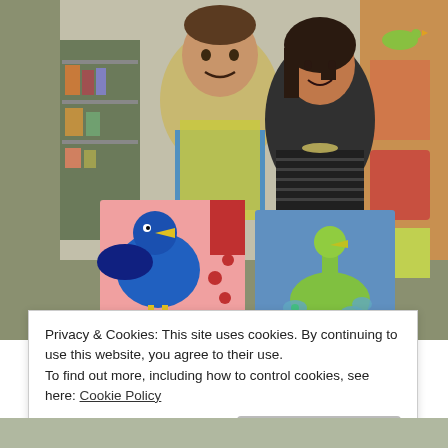[Figure (photo): Two people smiling and holding up colorful bird paintings on canvas. The man on the left holds a canvas with a blue bird painting on a pink background. The woman on the right holds a canvas with a green peacock painting on a blue background. Both are wearing aprons. An art studio or shop is visible in the background.]
Privacy & Cookies: This site uses cookies. By continuing to use this website, you agree to their use.
To find out more, including how to control cookies, see here: Cookie Policy
Close and accept